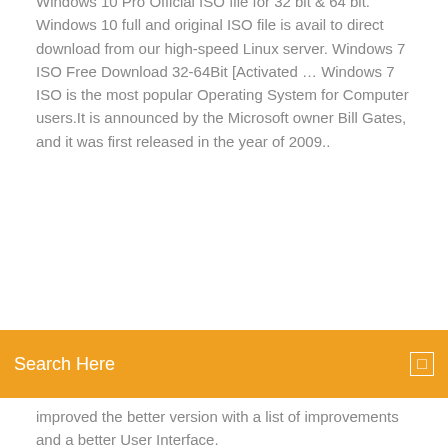Windows 10 Pro Official ISO file for 32 bit & 64 bit. Windows 10 full and original ISO file is avail to direct download from our high-speed Linux server. Windows 7 ISO Free Download 32-64Bit [Activated … Windows 7 ISO is the most popular Operating System for Computer users.It is announced by the Microsoft owner Bill Gates, and it was first released in the year of 2009.. This technology...
[Figure (other): Orange search bar with 'Search Here' placeholder text and a small square icon on the right]
improved the better version with a list of improvements and a better User Interface.
Oct 8, 2019 Microsoft has released the latest Windows 10 May 2019 Update (version 1903) you can now easily download Windows 10 ISO for free right from Microsoft. ISO file you want to download: 32-bit (x86) or 64-bit (x64) or Both  Oct 4, 2018 Here's how to download official Windows 10 Pro ISO file legally without 10 directly through 'Windows Update' as part of the free-of-charge Step 4: Once done, you will get two options, to